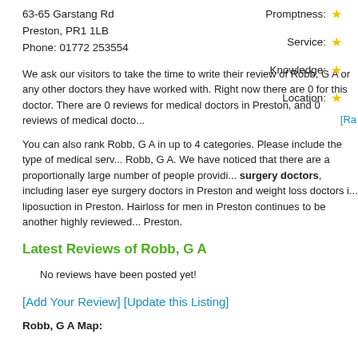63-65 Garstang Rd
Preston, PR1 1LB
Phone: 01772 253554
Promptness:
Service:
Knowledge:
Location:
[Ra...
We ask our visitors to take the time to write their review of Robb, G A or any other doctors they have worked with. Right now there are 0 for this doctor. There are 0 reviews for medical doctors in Preston, and 0 reviews of medical docto...
You can also rank Robb, G A in up to 4 categories. Please include the type of medical serv... Robb, G A. We have noticed that there are a proportionally large number of people providi... surgery doctors, including laser eye surgery doctors in Preston and weight loss doctors i... liposuction in Preston. Hairloss for men in Preston continues to be another highly reviewed... Preston.
Latest Reviews of Robb, G A
No reviews have been posted yet!
[Add Your Review] [Update this Listing]
Robb, G A Map: